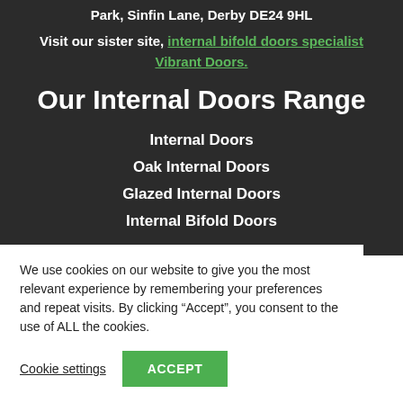Park, Sinfin Lane, Derby DE24 9HL
Visit our sister site, internal bifold doors specialist Vibrant Doors.
Our Internal Doors Range
Internal Doors
Oak Internal Doors
Glazed Internal Doors
Internal Bifold Doors
We use cookies on our website to give you the most relevant experience by remembering your preferences and repeat visits. By clicking “Accept”, you consent to the use of ALL the cookies.
Cookie settings
ACCEPT